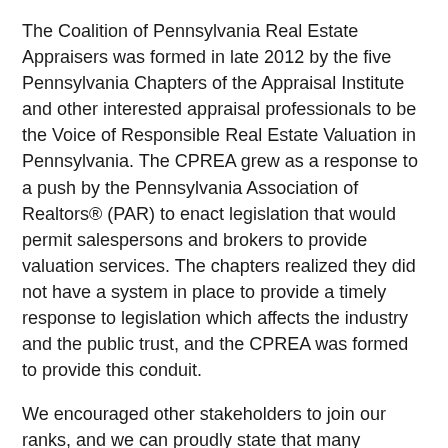The Coalition of Pennsylvania Real Estate Appraisers was formed in late 2012 by the five Pennsylvania Chapters of the Appraisal Institute and other interested appraisal professionals to be the Voice of Responsible Real Estate Valuation in Pennsylvania. The CPREA grew as a response to a push by the Pennsylvania Association of Realtors® (PAR) to enact legislation that would permit salespersons and brokers to provide valuation services. The chapters realized they did not have a system in place to provide a timely response to legislation which affects the industry and the public trust, and the CPREA was formed to provide this conduit.
We encouraged other stakeholders to join our ranks, and we can proudly state that many including multiple chapters of several national appraisal organizations, joined with us to have a voice in the Pennsylvania legislative arena. As a result of these grass-roots efforts, the fight against SB869 introduced on April 18, 2013, which would have permitted sales agents and brokers to provide valuation services, never made it out of committee and onto the Senate floor for a vote. The bill was subsequently reintroduced and passed in 2018 with provisions in place for educational requirements and